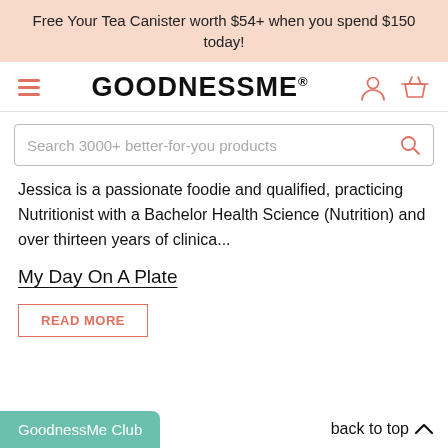Free Your Tea Canister worth $54+ when you spend $150 today!
[Figure (logo): GoodnessMe. logo with hamburger menu icon on left and user/cart icons on right]
Search 3000+ better-for-you products
Jessica is a passionate foodie and qualified, practicing Nutritionist with a Bachelor Health Science (Nutrition) and over thirteen years of clinica...
My Day On A Plate
READ MORE
GoodnessMe Club   back to top